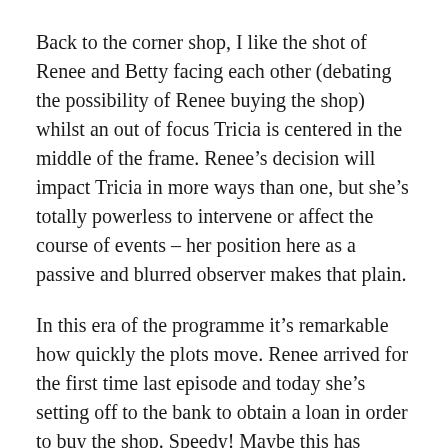Back to the corner shop, I like the shot of Renee and Betty facing each other (debating the possibility of Renee buying the shop) whilst an out of focus Tricia is centered in the middle of the frame. Renee’s decision will impact Tricia in more ways than one, but she’s totally powerless to intervene or affect the course of events – her position here as a passive and blurred observer makes that plain.
In this era of the programme it’s remarkable how quickly the plots move. Renee arrived for the first time last episode and today she’s setting off to the bank to obtain a loan in order to buy the shop. Speedy! Maybe this has something to do with the fact there were only